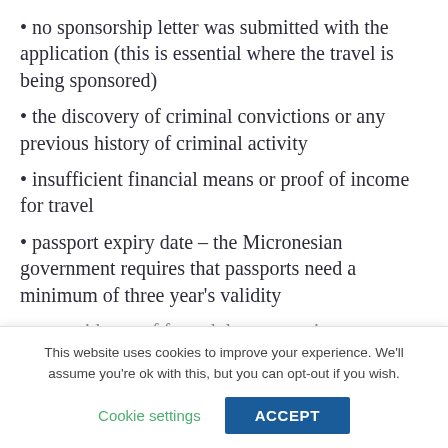no sponsorship letter was submitted with the application (this is essential where the travel is being sponsored)
the discovery of criminal convictions or any previous history of criminal activity
insufficient financial means or proof of income for travel
passport expiry date – the Micronesian government requires that passports need a minimum of three year's validity
any evidence of forged documentation or incorrect information supplied
This website uses cookies to improve your experience. We'll assume you're ok with this, but you can opt-out if you wish.